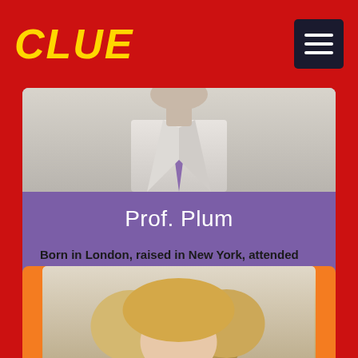CLUE
Prof. Plum
Born in London, raised in New York, attended Oxford, and is now part of the British Think Tank in Washington, DC.
MORE
[Figure (photo): Partial photo of a person in a suit with purple tie, cropped at torso level, on a purple card background]
[Figure (photo): Partial photo of a person with blonde hair, cropped at head/shoulder level, on an orange card background]